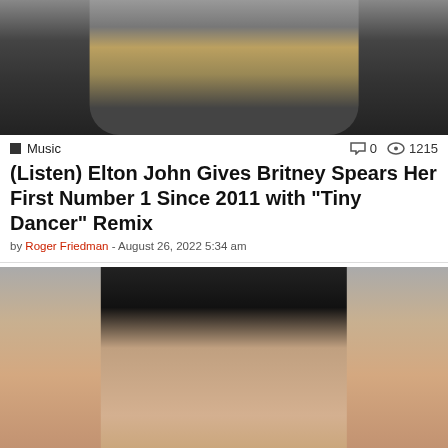[Figure (photo): Performer holding microphone, wearing bejeweled jacket on stage]
Music   0   1215
(Listen) Elton John Gives Britney Spears Her First Number 1 Since 2011 with “Tiny Dancer” Remix
by Roger Friedman - August 26, 2022 5:34 am
[Figure (photo): Young man with dark hair, close-up face shot]
Movies   0   270
Review: Owen Kline Knows How to Make a Movie, But “Funny Pages” Isn’t the One He Should Have Made